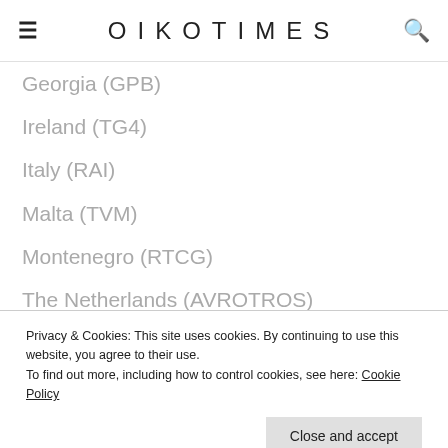OIKOTIMES
Georgia (GPB)
Ireland (TG4)
Italy (RAI)
Malta (TVM)
Montenegro (RTCG)
The Netherlands (AVROTROS)
San Marino (SMRTV)
Serbia (RTS)
Slovenia (RTVSLO)
Russia (RTR)
Privacy & Cookies: This site uses cookies. By continuing to use this website, you agree to their use. To find out more, including how to control cookies, see here: Cookie Policy
Close and accept